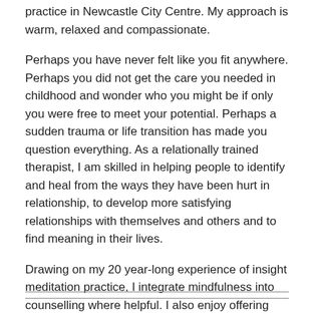practice in Newcastle City Centre. My approach is warm, relaxed and compassionate.
Perhaps you have never felt like you fit anywhere. Perhaps you did not get the care you needed in childhood and wonder who you might be if only you were free to meet your potential. Perhaps a sudden trauma or life transition has made you question everything. As a relationally trained therapist, I am skilled in helping people to identify and heal from the ways they have been hurt in relationship, to develop more satisfying relationships with themselves and others and to find meaning in their lives.
Drawing on my 20 year-long experience of insight meditation practice, I integrate mindfulness into counselling where helpful. I also enjoy offering creative and symbolic ways of working, such as through drawing, working with clay, inner child work and play.